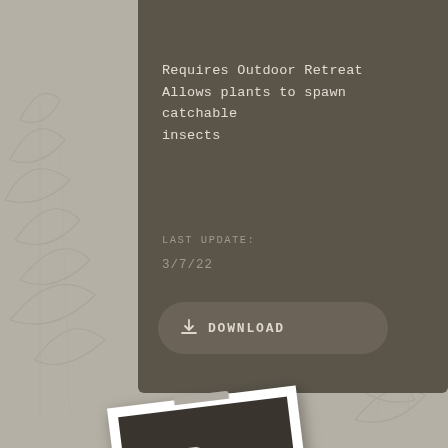Requires Outdoor Retreat
Allows plants to spawn catchable insects
LAST UPDATE:
3/7/22
DOWNLOAD
[Figure (illustration): A polaroid-style photo tilted at an angle showing a dark folder icon on a dark background, positioned at the bottom of the page against a light grey decorative botanical line-art background.]